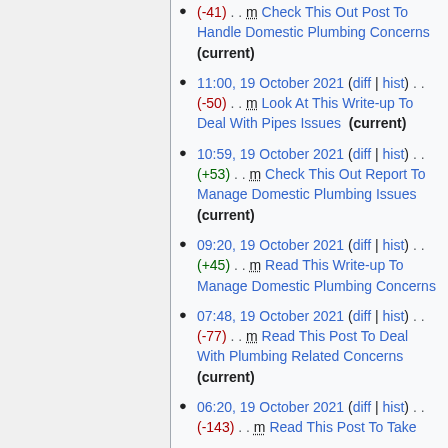(-41) . . m Check This Out Post To Handle Domestic Plumbing Concerns (current)
11:00, 19 October 2021 (diff | hist) . . (-50) . . m Look At This Write-up To Deal With Pipes Issues (current)
10:59, 19 October 2021 (diff | hist) . . (+53) . . m Check This Out Report To Manage Domestic Plumbing Issues (current)
09:20, 19 October 2021 (diff | hist) . . (+45) . . m Read This Write-up To Manage Domestic Plumbing Concerns
07:48, 19 October 2021 (diff | hist) . . (-77) . . m Read This Post To Deal With Plumbing Related Concerns (current)
06:20, 19 October 2021 (diff | hist) . . (-143) . . m Read This Post To Take